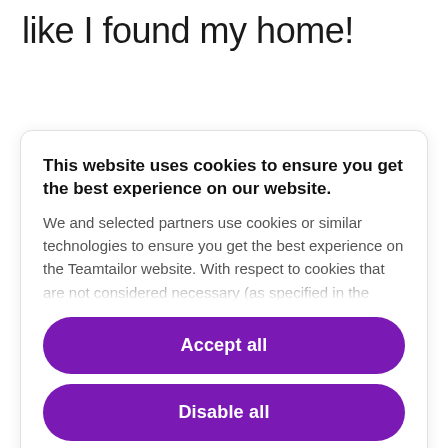like I found my home!
This website uses cookies to ensure you get the best experience on our website. We and selected partners use cookies or similar technologies to ensure you get the best experience on the Teamtailor website. With respect to cookies that are not considered necessary (as specified in the
Accept all
Disable all
Cookie preferences